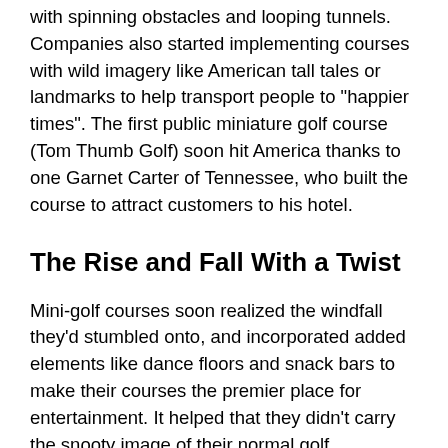with spinning obstacles and looping tunnels. Companies also started implementing courses with wild imagery like American tall tales or landmarks to help transport people to "happier times". The first public miniature golf course (Tom Thumb Golf) soon hit America thanks to one Garnet Carter of Tennessee, who built the course to attract customers to his hotel.
The Rise and Fall With a Twist
Mini-golf courses soon realized the windfall they'd stumbled onto, and incorporated added elements like dance floors and snack bars to make their courses the premier place for entertainment. It helped that they didn't carry the snooty image of their normal golf counterparts, making them more accessible to the working-class.
The craze got so big that Hollywood began telling its